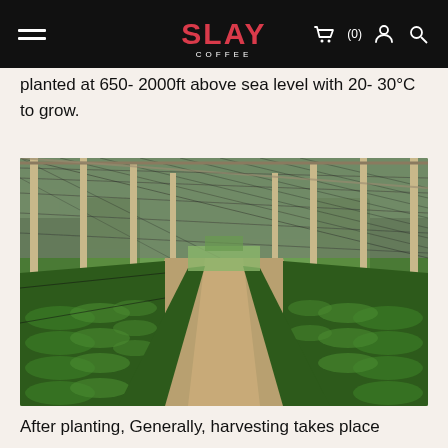SLAY COFFEE — navigation bar with hamburger menu, logo, cart (0), user icon, and search icon
planted at 650- 2000ft above sea level with 20- 30°C to grow.
[Figure (photo): A greenhouse nursery with rows of young green coffee plants under a shade net roof supported by wooden poles. Perspective view down the center aisle.]
After planting, Generally, harvesting takes place